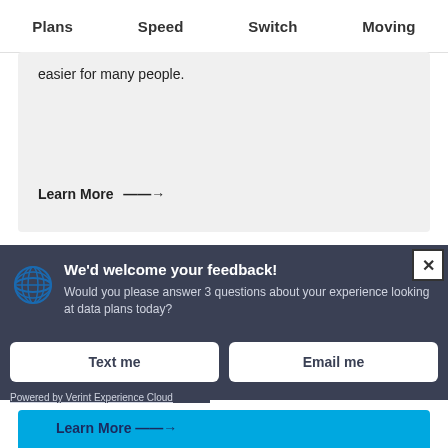Plans   Speed   Switch   Moving
easier for many people.
Learn More →
[Figure (screenshot): Feedback survey popup with AT&T logo, title 'We'd welcome your feedback!', subtitle 'Would you please answer 3 questions about your experience looking at data plans today?', two buttons: Text me and Email me, and a close button]
Powered by Verint Experience Cloud
Learn More →